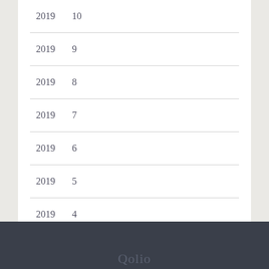2019  10
2019  9
2019  8
2019  7
2019  6
2019  5
2019  4
Qolio